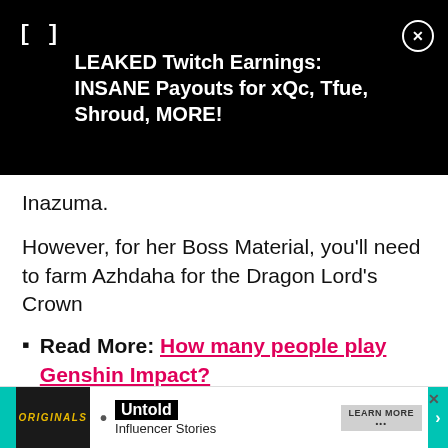[Figure (screenshot): Dark advertisement banner for 'LEAKED Twitch Earnings: INSANE Payouts for xQc, Tfue, Shroud, MORE!' with a bracket icon and close button on black background]
Inazuma.
However, for her Boss Material, you'll need to farm Azhdaha for the Dragon Lord's Crown
Read More: How many people play Genshin Impact?
Here's everything you will need to max out Yoimiya's talents and levels in Genshin Impact:
Yoimiya Talent Level-Up materials
[Figure (screenshot): Bottom advertisement banner featuring 'Originals' logo and 'Untold Influencer Stories' with Learn More button]